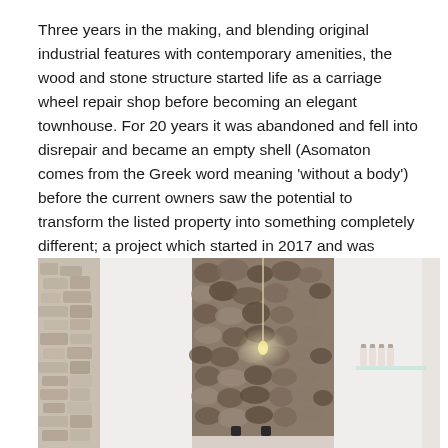Three years in the making, and blending original industrial features with contemporary amenities, the wood and stone structure started life as a carriage wheel repair shop before becoming an elegant townhouse. For 20 years it was abandoned and fell into disrepair and became an empty shell (Asomaton comes from the Greek word meaning 'without a body') before the current owners saw the potential to transform the listed property into something completely different; a project which started in 2017 and was carried out in collaboration with the Greek Ministry of Culture.
[Figure (photo): Interior bathroom photo showing a stone/pebble feature wall panel with a pendant light, white walls on either side, black tap fixtures at the bottom, and small toiletry bottles on a shelf to the right.]